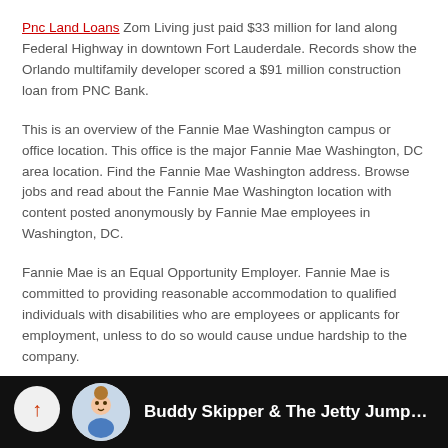Pnc Land Loans Zom Living just paid $33 million for land along Federal Highway in downtown Fort Lauderdale. Records show the Orlando multifamily developer scored a $91 million construction loan from PNC Bank.
This is an overview of the Fannie Mae Washington campus or office location. This office is the major Fannie Mae Washington, DC area location. Find the Fannie Mae Washington address. Browse jobs and read about the Fannie Mae Washington location with content posted anonymously by Fannie Mae employees in Washington, DC.
Fannie Mae is an Equal Opportunity Employer. Fannie Mae is committed to providing reasonable accommodation to qualified individuals with disabilities who are employees or applicants for employment, unless to do so would cause undue hardship to the company.
[Figure (screenshot): Video bar at bottom showing 'Buddy Skipper & The Jetty Jumpers - FA...' with a circular avatar of a child on a dark/black background, and a back button circle on the left.]